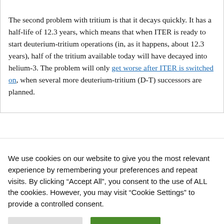The second problem with tritium is that it decays quickly. It has a half-life of 12.3 years, which means that when ITER is ready to start deuterium-tritium operations (in, as it happens, about 12.3 years), half of the tritium available today will have decayed into helium-3. The problem will only get worse after ITER is switched on, when several more deuterium-tritium (D-T) successors are planned.
We use cookies on our website to give you the most relevant experience by remembering your preferences and repeat visits. By clicking "Accept All", you consent to the use of ALL the cookies. However, you may visit "Cookie Settings" to provide a controlled consent.